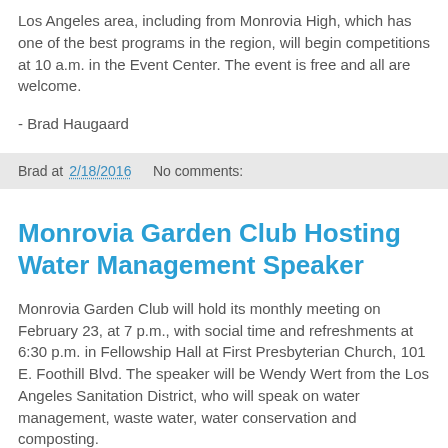Los Angeles area, including from Monrovia High, which has one of the best programs in the region, will begin competitions at 10 a.m. in the Event Center. The event is free and all are welcome.
- Brad Haugaard
Brad at 2/18/2016    No comments:
Monrovia Garden Club Hosting Water Management Speaker
Monrovia Garden Club will hold its monthly meeting on February 23, at 7 p.m., with social time and refreshments at 6:30 p.m. in Fellowship Hall at First Presbyterian Church, 101 E. Foothill Blvd. The speaker will be Wendy Wert from the Los Angeles Sanitation District, who will speak on water management, waste water, water conservation and composting.